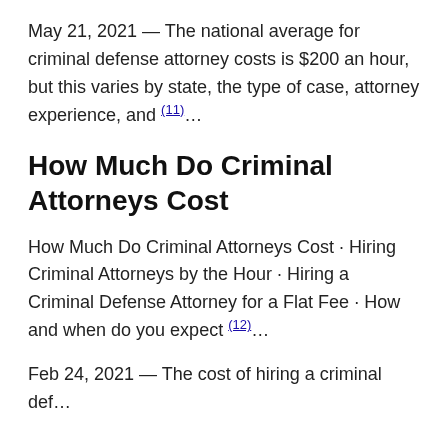May 21, 2021 — The national average for criminal defense attorney costs is $200 an hour, but this varies by state, the type of case, attorney experience, and (11)...
How Much Do Criminal Attorneys Cost
How Much Do Criminal Attorneys Cost · Hiring Criminal Attorneys by the Hour · Hiring a Criminal Defense Attorney for a Flat Fee · How and when do you expect (12)...
Feb 24, 2021 — The cost of hiring a criminal def...